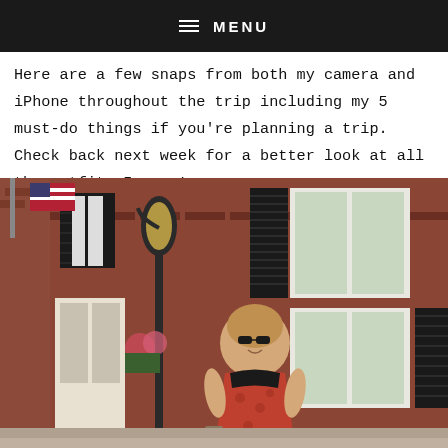≡ MENU
Here are a few snaps from both my camera and iPhone throughout the trip including my 5 must-do things if you're planning a trip. Check back next week for a better look at all the outfits I wore!
[Figure (photo): A young woman wearing sunglasses and a red patterned dress standing on a historic brick-building street with a gas lamp post, American flag visible, black shuttered windows on brick buildings in the background.]